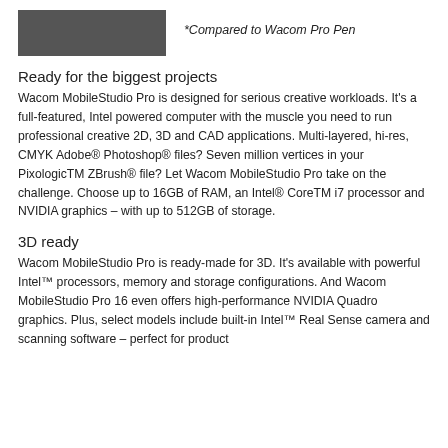[Figure (other): Gray rectangle placeholder image]
*Compared to Wacom Pro Pen
Ready for the biggest projects
Wacom MobileStudio Pro is designed for serious creative workloads. It's a full-featured, Intel powered computer with the muscle you need to run professional creative 2D, 3D and CAD applications. Multi-layered, hi-res, CMYK Adobe® Photoshop® files? Seven million vertices in your PixologicTM ZBrush® file? Let Wacom MobileStudio Pro take on the challenge. Choose up to 16GB of RAM, an Intel® CoreTM i7 processor and NVIDIA graphics – with up to 512GB of storage.
3D ready
Wacom MobileStudio Pro is ready-made for 3D. It's available with powerful Intel™ processors, memory and storage configurations. And Wacom MobileStudio Pro 16 even offers high-performance NVIDIA Quadro graphics. Plus, select models include built-in Intel™ Real Sense camera and scanning software – perfect for product